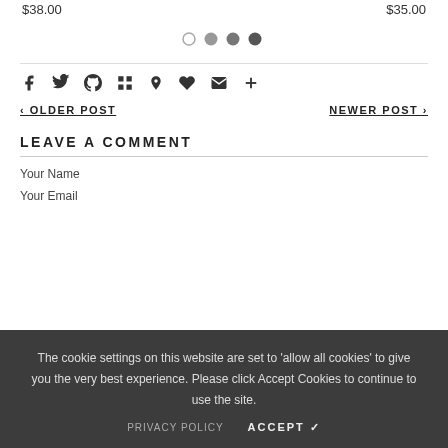$38.00   $35.00
[Figure (other): Carousel pagination dots: one open circle and three filled circles]
[Figure (other): Social sharing icons: Facebook, Twitter, Pinterest, Grid, Bookmark, Heart, Email, Plus]
< OLDER POST    NEWER POST >
LEAVE A COMMENT
Your Name
Your Email
The cookie settings on this website are set to 'allow all cookies' to give you the very best experience. Please click Accept Cookies to continue to use the site.
PRIVACY POLICY
ACCEPT ✔